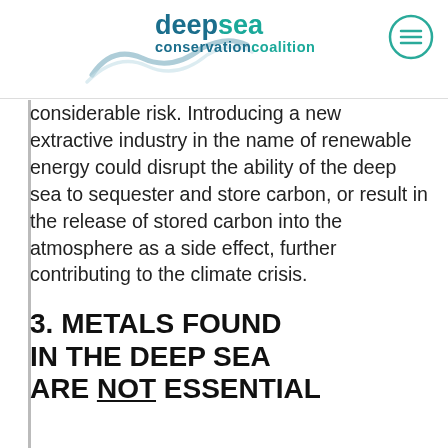deepsea conservationcoalition
considerable risk. Introducing a new extractive industry in the name of renewable energy could disrupt the ability of the deep sea to sequester and store carbon, or result in the release of stored carbon into the atmosphere as a side effect, further contributing to the climate crisis.
3. METALS FOUND IN THE DEEP SEA ARE NOT ESSENTIAL